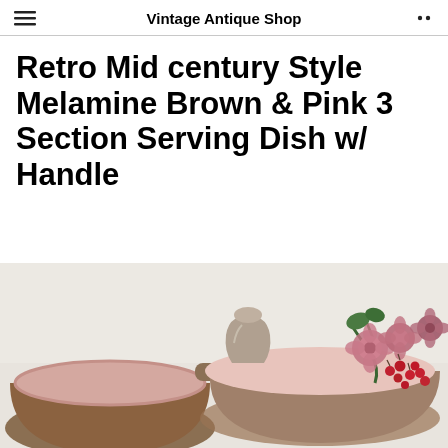Vintage Antique Shop
Retro Mid century Style Melamine Brown & Pink 3 Section Serving Dish w/ Handle
[Figure (photo): A retro mid-century style melamine serving dish with brown exterior and pink interior, featuring a handle in the center, decorated with pink and red flowers and berries on the right side. Shot against a light background.]